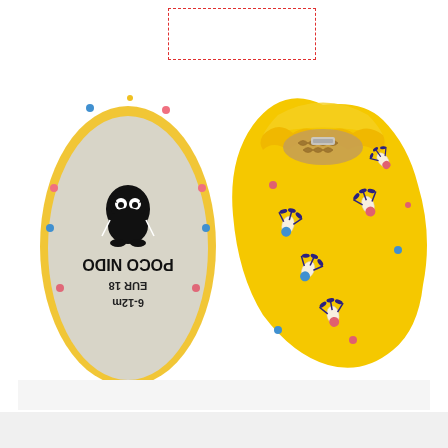[Figure (photo): Two baby shoes (Poco Nido brand, EUR 18, 6-12m size). Left shoe shows the sole view — a light grey suede-like flat sole with yellow binding trim around the edge and multicolor stitching. The sole has a black brand stamp showing 'POCO NIDO' (mirrored/upside down), 'EUR 18', '6-12m', and a cartoon owl logo. Right shoe shows the top/outside view — a soft fabric baby bootie with a yellow background covered in a badminton shuttlecock pattern in white, navy, pink and blue colors. The shoe has an elasticated opening and an inner sole with a brown scale pattern.]